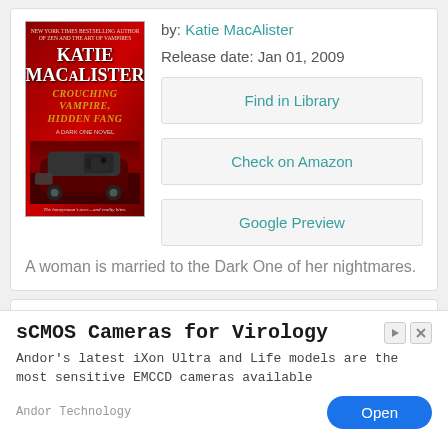[Figure (illustration): Book cover of 'Crouching Vampire, Hidden Fang' by Katie MacAlister, showing a man driving a red car, dark background with moon]
by: Katie MacAlister
Release date: Jan 01, 2009
Find in Library
Check on Amazon
Google Preview
A woman is married to the Dark One of her nightmares.
sCMOS Cameras for Virology
Andor's latest iXon Ultra and Life models are the most sensitive EMCCD cameras available
Andor Technology
Open